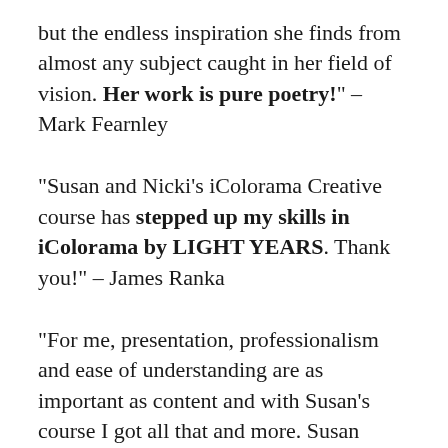but the endless inspiration she finds from almost any subject caught in her field of vision. Her work is pure poetry!" - Mark Fearnley
"Susan and Nicki's iColorama Creative course has stepped up my skills in iColorama by LIGHT YEARS. Thank you!" - James Ranka
"For me, presentation, professionalism and ease of understanding are as important as content and with Susan's course I got all that and more. Susan delivers her lessons in an organized and easy to follow format. Susan definitely knows her stuff... and I am SO happy she’s willing to share it with us so we can improve our own